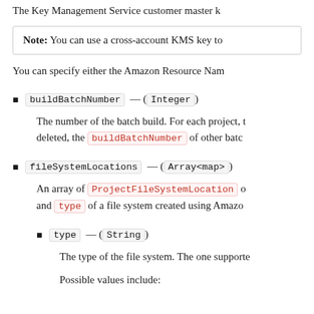The Key Management Service customer master k
Note: You can use a cross-account KMS key to
You can specify either the Amazon Resource Nam
buildBatchNumber — (Integer)
The number of the batch build. For each project, t deleted, the buildBatchNumber of other batc
fileSystemLocations — (Array<map>)
An array of ProjectFileSystemLocation o and type of a file system created using Amazo
type — (String)
The type of the file system. The one supporte
Possible values include: